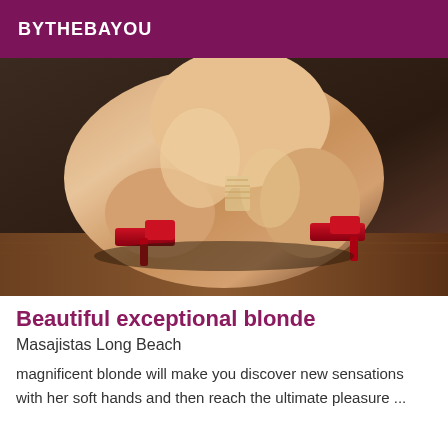BYTHEBAYOU
[Figure (photo): A person crouching in red high heels, close-up of legs and lower body against a dark background with wooden floor.]
Beautiful exceptional blonde
Masajistas Long Beach
magnificent blonde will make you discover new sensations with her soft hands and then reach the ultimate pleasure ...